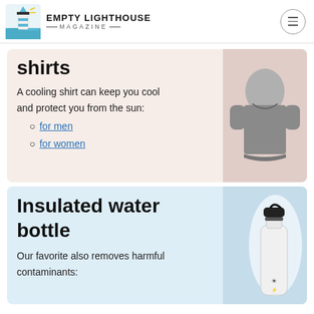EMPTY LIGHTHOUSE MAGAZINE
shirts
A cooling shirt can keep you cool and protect you from the sun:
for men
for women
[Figure (photo): Person wearing a gray cooling t-shirt]
Insulated water bottle
Our favorite also removes harmful contaminants:
[Figure (photo): White insulated water bottle with black lid and logo]